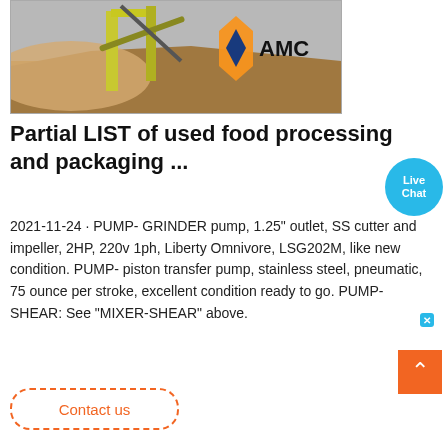[Figure (photo): Industrial quarry or construction site with heavy machinery (excavator/conveyor), sandy/rocky terrain, with AMC logo overlay (orange and blue hexagonal bracket logo with 'AMC' text)]
Partial LIST of used food processing and packaging ...
2021-11-24 · PUMP- GRINDER pump, 1.25" outlet, SS cutter and impeller, 2HP, 220v 1ph, Liberty Omnivore, LSG202M, like new condition. PUMP- piston transfer pump, stainless steel, pneumatic, 75 ounce per stroke, excellent condition ready to go. PUMP- SHEAR: See "MIXER-SHEAR" above.
[Figure (other): Live Chat button - blue circle speech bubble with 'Live Chat' text and a close X button]
[Figure (other): Back to top button - orange square with white upward chevron arrow]
Contact us